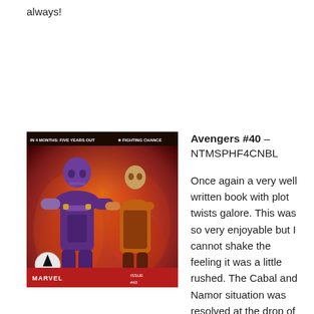always!
[Figure (illustration): Comic book cover for Avengers #40 featuring Thanos and another character against a red fiery background, with the Avengers logo and Marvel branding]
Avengers #40 – NTMSPHF4CNBL
Once again a very well written book with plot twists galore. This was so very enjoyable but I cannot shake the feeling it was a little rushed. The Cabal and Namor situation was resolved at the drop of a hat and I find myself not having to delve into the previous issues to understand it. Are you sure Hickman wrote this?